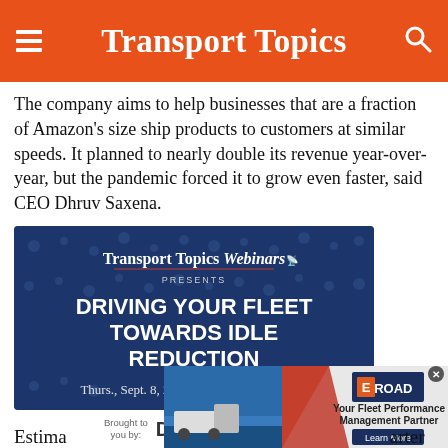Transport Topics
The company aims to help businesses that are a fraction of Amazon's size ship products to customers at similar speeds. It planned to nearly double its revenue year-over-year, but the pandemic forced it to grow even faster, said CEO Dhruv Saxena.
[Figure (other): Transport Topics Webinars advertisement banner. Blue background with decorative logistics icons. Text: 'Transport Topics Webinars PRESENTS DRIVING YOUR FLEET TOWARDS IDLE REDUCTION Thurs., Sept. 8, 2022 | 2:00pm - 3:00pm ET']
[Figure (other): Drivewyze sponsor strip with text 'Brought to you by:' and Drivewyze logo]
[Figure (other): EROAD advertisement overlay: 'Your Fleet Performance Management Partner' with Learn More button and close X button]
Estima                                                        arter